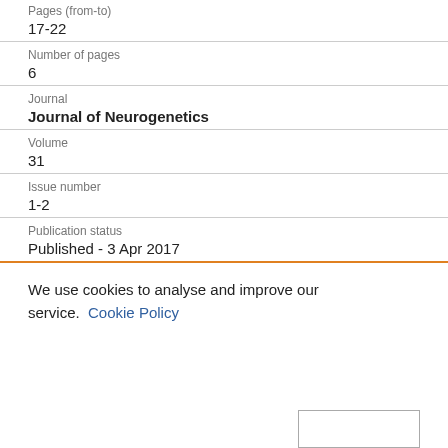| Pages (from-to) | 17-22 |
| Number of pages | 6 |
| Journal | Journal of Neurogenetics |
| Volume | 31 |
| Issue number | 1-2 |
| Publication status | Published - 3 Apr 2017 |
We use cookies to analyse and improve our service. Cookie Policy